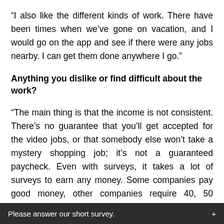“I also like the different kinds of work. There have been times when we’ve gone on vacation, and I would go on the app and see if there were any jobs nearby. I can get them done anywhere I go.”
Anything you dislike or find difficult about the work?
“The main thing is that the income is not consistent. There’s no guarantee that you’ll get accepted for the video jobs, or that somebody else won’t take a mystery shopping job; it’s not a guaranteed paycheck. Even with surveys, it takes a lot of surveys to earn any money. Some companies pay good money, other companies require 40, 50 pictures, but they’ll pay you $4 or $5. When you’re desperate for money, and you’re
Please answer our short survey.